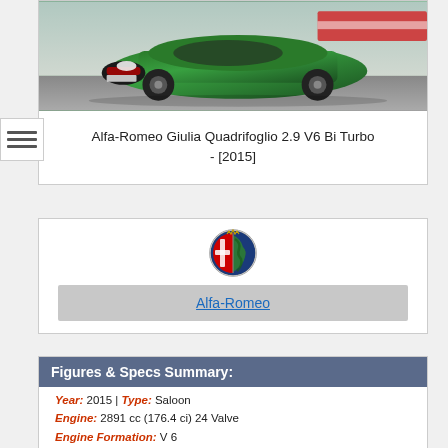[Figure (photo): Green Alfa-Romeo Giulia Quadrifoglio sports car photographed from the front on a track]
Alfa-Romeo Giulia Quadrifoglio 2.9 V6 Bi Turbo - [2015]
[Figure (logo): Alfa Romeo circular logo with red cross and green serpent on blue background]
Alfa-Romeo
Figures & Specs Summary:
Year: 2015 | Type: Saloon
Engine: 2891 cc (176.4 ci) 24 Valve
Engine Formation: V 6
Aspiration: Twin Turbo
Fuel Type: Petrol
Transmission: 6 speed / Manual
Top Speed: 191 mph (307.3 kph)
0-60 mph (96.6 kph): 3.8 secs